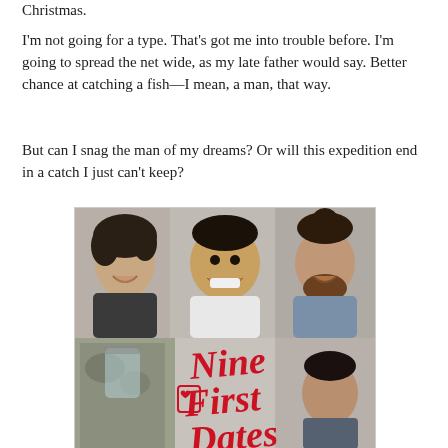Christmas.
I'm not going for a type. That's got me into trouble before. I'm going to spread the net wide, as my late father would say. Better chance at catching a fish—I mean, a man, that way.
But can I snag the man of my dreams? Or will this expedition end in a catch I just can't keep?
[Figure (illustration): Book cover for 'Nine First Dates' showing three smiling men across the top half and the title in red script lettering on the bottom half, partially visible.]